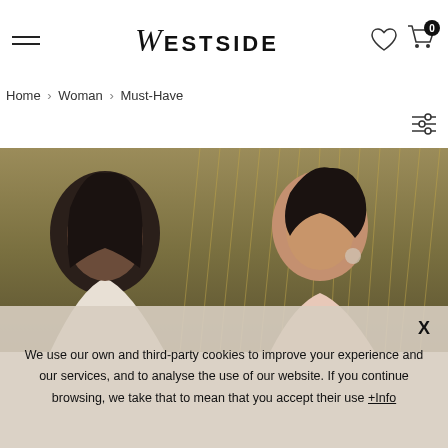Westside — navigation header with hamburger menu, logo, heart icon, cart with 0 items
Home > Woman > Must-Have
[Figure (screenshot): Two women posing outdoors with natural dry foliage/reeds in the background. Left woman has dark hair, looking forward; right woman has hair pulled back, wearing earrings and a light pink top.]
We use our own and third-party cookies to improve your experience and our services, and to analyse the use of our website. If you continue browsing, we take that to mean that you accept their use +Info